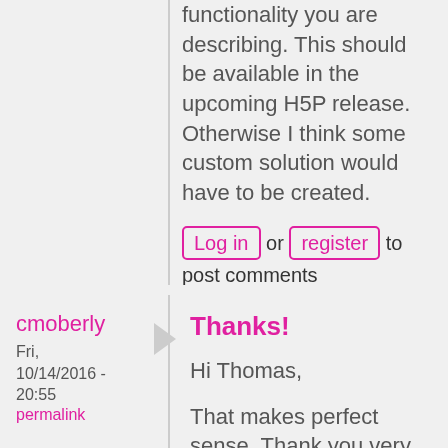functionality you are describing. This should be available in the upcoming H5P release. Otherwise I think some custom solution would have to be created.
Log in or register to post comments
cmoberly
Fri, 10/14/2016 - 20:55
permalink
Thanks!
Hi Thomas,
That makes perfect sense. Thank you very